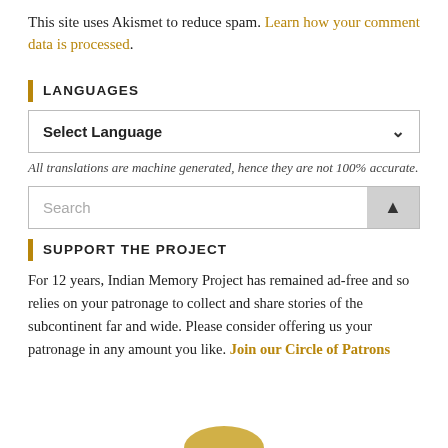This site uses Akismet to reduce spam. Learn how your comment data is processed.
LANGUAGES
Select Language
All translations are machine generated, hence they are not 100% accurate.
Search
SUPPORT THE PROJECT
For 12 years, Indian Memory Project has remained ad-free and so relies on your patronage to collect and share stories of the subcontinent far and wide. Please consider offering us your patronage in any amount you like. Join our Circle of Patrons